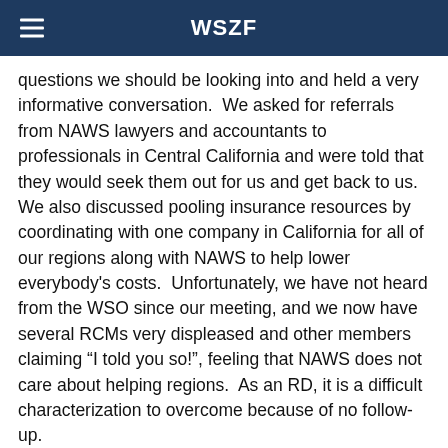WSZF
questions we should be looking into and held a very informative conversation.  We asked for referrals from NAWS lawyers and accountants to professionals in Central California and were told that they would seek them out for us and get back to us.  We also discussed pooling insurance resources by coordinating with one company in California for all of our regions along with NAWS to help lower everybody's costs.  Unfortunately, we have not heard from the WSO since our meeting, and we now have several RCMs very displeased and other members claiming "I told you so!", feeling that NAWS does not care about helping regions.  As an RD, it is a difficult characterization to overcome because of no follow-up.
We look forward to entering into the heavy-work part of the cycle.  We are ready to plan for CAR Workshops and our Literature RIC is ready to workshop anything we will need to approve.  We do hope that the board will increase communications with the fellowship as NAWS News and Conference Report issues have been very few and far between.  An issue after each board meeting should be